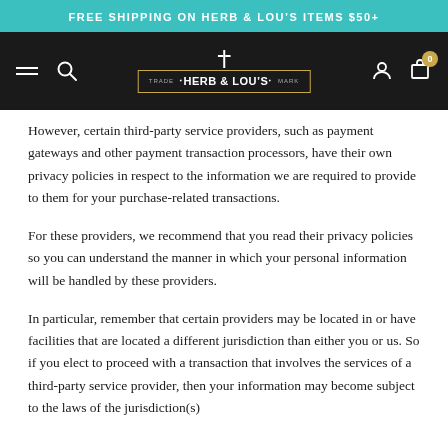FREE SHIPPING ON HERB & LOU'S ITEMS $50+
[Figure (logo): Herb & Lou's navigation bar with hamburger menu, search icon, logo with gold border, user icon, and cart icon]
However, certain third-party service providers, such as payment gateways and other payment transaction processors, have their own privacy policies in respect to the information we are required to provide to them for your purchase-related transactions.
For these providers, we recommend that you read their privacy policies so you can understand the manner in which your personal information will be handled by these providers.
In particular, remember that certain providers may be located in or have facilities that are located a different jurisdiction than either you or us. So if you elect to proceed with a transaction that involves the services of a third-party service provider, then your information may become subject to the laws of the jurisdiction(s) in which that service provider or its facilities are located.